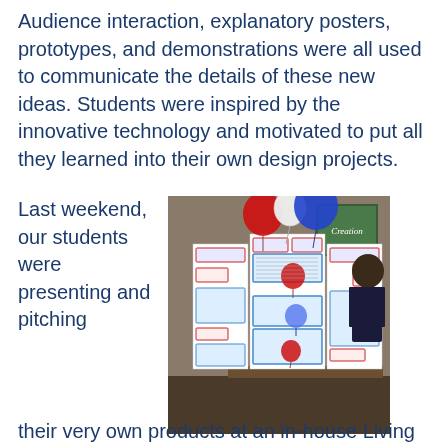Audience interaction, explanatory posters, prototypes, and demonstrations were all used to communicate the details of these new ideas. Students were inspired by the innovative technology and motivated to put all they learned into their own design projects.
Last weekend, our students were presenting and pitching their very own products at an in-house Living Science InVenture Competition. The winner of the competition will advance to compete at Georgia...
[Figure (photo): A student standing next to a tri-fold science fair display board decorated with red and blue balloons. The board has sections with text and images. A 'Creation' poster is visible in the background.]